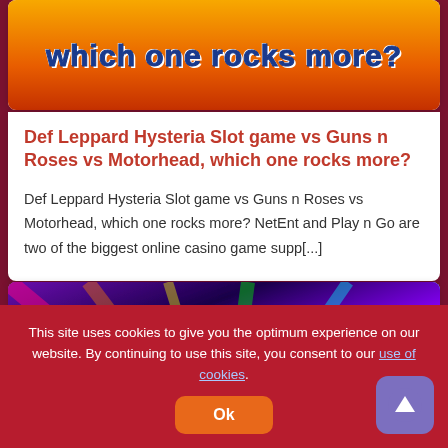[Figure (illustration): Orange/red gradient background with bold stylized text 'which one rocks more?' in blue with white outline]
Def Leppard Hysteria Slot game vs Guns n Roses vs Motorhead, which one rocks more?
Def Leppard Hysteria Slot game vs Guns n Roses vs Motorhead, which one rocks more? NetEnt and Play n Go are two of the biggest online casino game supp[...]
[Figure (screenshot): Colorful psychedelic background with 'August 31, 2022' overlay and partial text '100 Free Spins']
This site uses cookies to give you the optimum experience on our website. By continuing to use this site, you consent to our use of cookies.